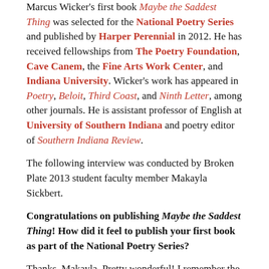Marcus Wicker's first book Maybe the Saddest Thing was selected for the National Poetry Series and published by Harper Perennial in 2012. He has received fellowships from The Poetry Foundation, Cave Canem, the Fine Arts Work Center, and Indiana University. Wicker's work has appeared in Poetry, Beloit, Third Coast, and Ninth Letter, among other journals. He is assistant professor of English at University of Southern Indiana and poetry editor of Southern Indiana Review.
The following interview was conducted by Broken Plate 2013 student faculty member Makayla Sickbert.
Congratulations on publishing Maybe the Saddest Thing! How did it feel to publish your first book as part of the National Poetry Series?
Thanks, Makayla. Pretty wonderful! I remember the